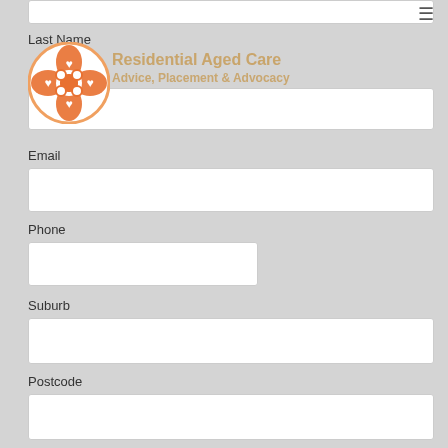[Figure (logo): Circular logo with orange/white clover-leaf or cross-like pattern with heart shapes]
Residential Aged Care
Advice, Placement & Advocacy
Last Name
Email
Phone
Suburb
Postcode
Please help me with:
Complete Placement Service
Send